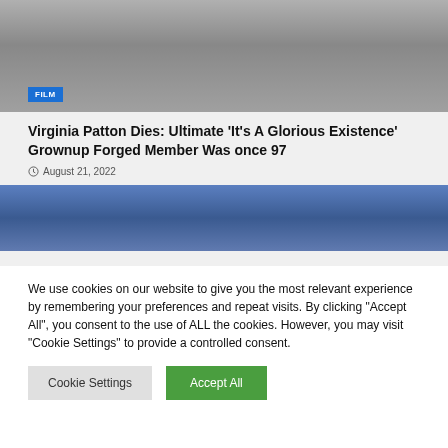[Figure (photo): Black and white photo of a person, partial view, cropped at top]
FILM
Virginia Patton Dies: Ultimate 'It's A Glorious Existence' Grownup Forged Member Was once 97
August 21, 2022
[Figure (photo): Color photo of a crowd of people, some making peace signs, at what appears to be a public event]
We use cookies on our website to give you the most relevant experience by remembering your preferences and repeat visits. By clicking "Accept All", you consent to the use of ALL the cookies. However, you may visit "Cookie Settings" to provide a controlled consent.